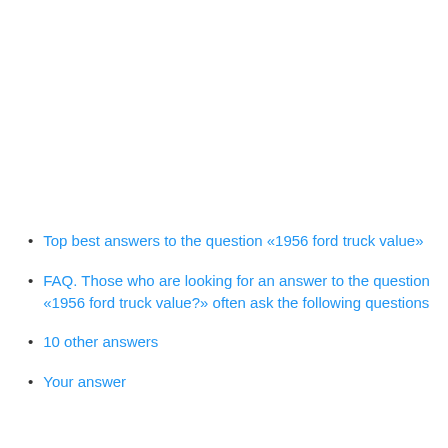Top best answers to the question «1956 ford truck value»
FAQ. Those who are looking for an answer to the question «1956 ford truck value?» often ask the following questions
10 other answers
Your answer